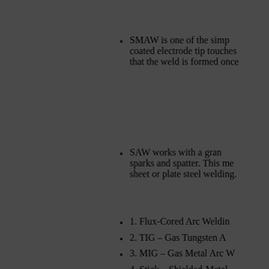SMAW is one of the simp... coated electrode tip touches... that the weld is formed once...
SAW works with a gran... sparks and spatter. This me... sheet or plate steel welding.
1. Flux-Cored Arc Weldin...
2. TIG – Gas Tungsten A...
3. MIG – Gas Metal Arc W...
4. Stick – Shielded-Meta...
5. Laser Beam Weldin...